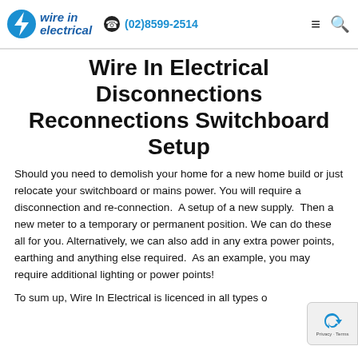wire in electrical | (02)8599-2514
Wire In Electrical Disconnections Reconnections Switchboard Setup
Should you need to demolish your home for a new home build or just relocate your switchboard or mains power. You will require a disconnection and re-connection. A setup of a new supply. Then a new meter to a temporary or permanent position. We can do these all for you. Alternatively, we can also add in any extra power points, earthing and anything else required. As an example, you may require additional lighting or power points!
To sum up, Wire In Electrical is licenced in all types o...